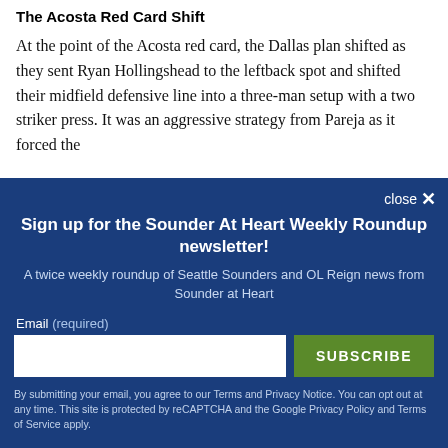The Acosta Red Card Shift
At the point of the Acosta red card, the Dallas plan shifted as they sent Ryan Hollingshead to the leftback spot and shifted their midfield defensive line into a three-man setup with a two striker press. It was an aggressive strategy from Pareja as it forced the
close ✕
Sign up for the Sounder At Heart Weekly Roundup newsletter!
A twice weekly roundup of Seattle Sounders and OL Reign news from Sounder at Heart
Email (required)
SUBSCRIBE
By submitting your email, you agree to our Terms and Privacy Notice. You can opt out at any time. This site is protected by reCAPTCHA and the Google Privacy Policy and Terms of Service apply.